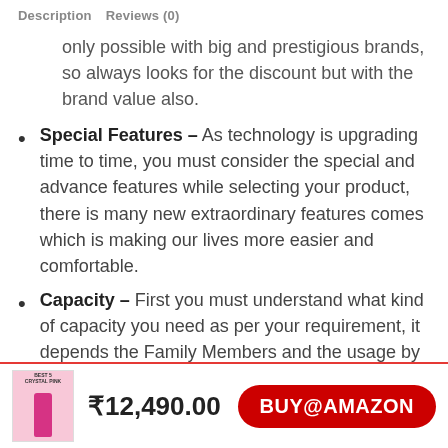Description   Reviews (0)
only possible with big and prestigious brands, so always looks for the discount but with the brand value also.
Special Features – As technology is upgrading time to time, you must consider the special and advance features while selecting your product, there is many new extraordinary features comes which is making our lives more easier and comfortable.
Capacity – First you must understand what kind of capacity you need as per your requirement, it depends the Family Members and the usage by them, for example approx 4 members in the
₹12,490.00
BUY@AMAZON